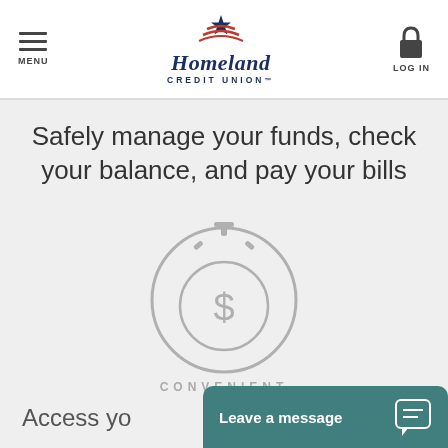MENU | Homeland Credit Union | LOG IN
Safely manage your funds, check your balance, and pay your bills
[Figure (illustration): Circular icon of a stopwatch/coin with dollar sign, grey outline on light grey background]
CONVENIENT
Access yo
Leave a message